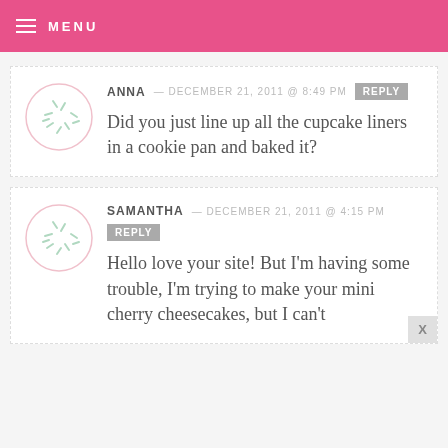MENU
ANNA — DECEMBER 21, 2011 @ 8:49 PM  REPLY
Did you just line up all the cupcake liners in a cookie pan and baked it?
SAMANTHA — DECEMBER 21, 2011 @ 4:15 PM  REPLY
Hello love your site! But I'm having some trouble, I'm trying to make your mini cherry cheesecakes, but I can't